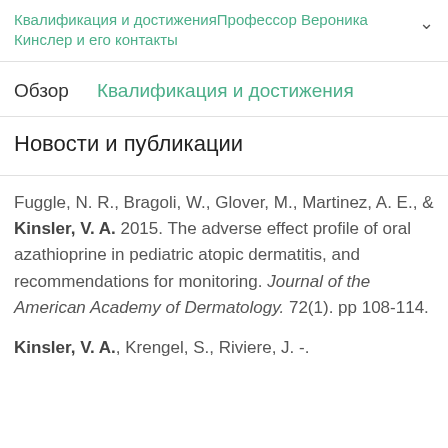Квалификация и достиженияПрофессор Вероника Кинслер и его контакты
Обзор   Квалификация и достижения
Новости и публикации
Fuggle, N. R., Bragoli, W., Glover, M., Martinez, A. E., & Kinsler, V. A. 2015. The adverse effect profile of oral azathioprine in pediatric atopic dermatitis, and recommendations for monitoring. Journal of the American Academy of Dermatology. 72(1). pp 108-114.
Kinsler, V. A., Krengel, S., Riviere, J. -.